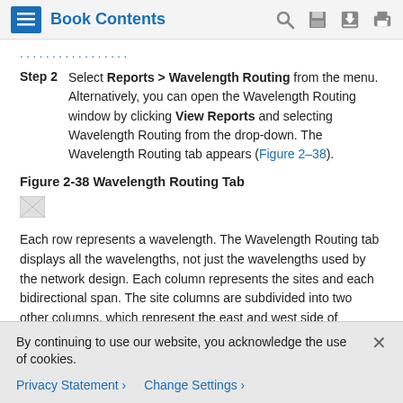Book Contents
Step 2  Select Reports > Wavelength Routing from the menu. Alternatively, you can open the Wavelength Routing window by clicking View Reports and selecting Wavelength Routing from the drop-down. The Wavelength Routing tab appears (Figure 2–38).
Figure 2-38 Wavelength Routing Tab
[Figure (screenshot): Small broken image placeholder icon representing the Wavelength Routing Tab screenshot]
Each row represents a wavelength. The Wavelength Routing tab displays all the wavelengths, not just the wavelengths used by the network design. Each column represents the sites and each bidirectional span. The site columns are subdivided into two other columns, which represent the east and west side of
By continuing to use our website, you acknowledge the use of cookies.
Privacy Statement  Change Settings